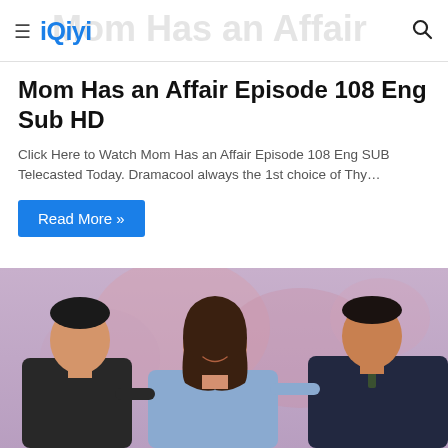iQiyi — Mom Has an Affair (navigation bar with hamburger menu and search icon)
Mom Has an Affair Episode 108 Eng Sub HD
Click Here to Watch Mom Has an Affair Episode 108 Eng SUB Telecasted Today. Dramacool always the 1st choice of Thy…
Read More »
[Figure (photo): Three Korean actors (two men and one woman) standing together at a press event in front of a decorative backdrop. The woman in the center is wearing a blue outfit and smiling; the man on the left is in black and the man on the right is in a dark suit.]